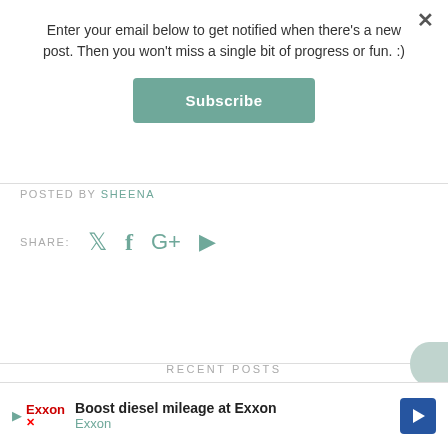Enter your email below to get notified when there's a new post. Then you won't miss a single bit of progress or fun. :)
Subscribe
POSTED BY SHEENA
SHARE:
RECENT POSTS
[Figure (photo): Small thumbnail image of shelves with ceramic bowls and a candle]
Boost diesel mileage at Exxon Exxon